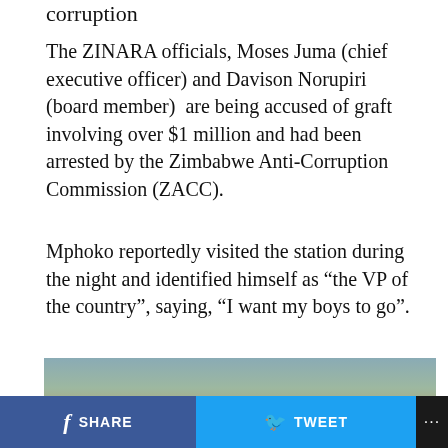corruption
The ZINARA officials, Moses Juma (chief executive officer) and Davison Norupiri (board member) are being accused of graft involving over $1 million and had been arrested by the Zimbabwe Anti-Corruption Commission (ZACC).
Mphoko reportedly visited the station during the night and identified himself as “the VP of the country”, saying, “I want my boys to go”.
[Figure (photo): A close-up photograph of a man, presumably related to the news story about ZINARA officials and the Zimbabwe Anti-Corruption Commission.]
SHARE   TWEET   ...